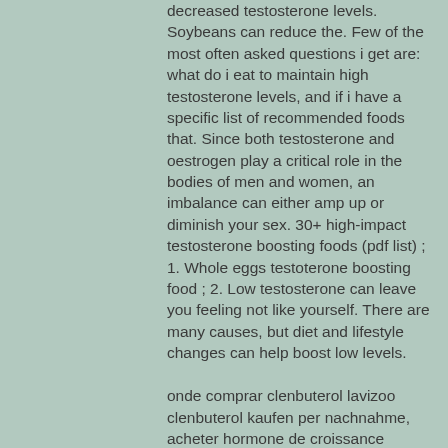decreased testosterone levels. Soybeans can reduce the. Few of the most often asked questions i get are: what do i eat to maintain high testosterone levels, and if i have a specific list of recommended foods that. Since both testosterone and oestrogen play a critical role in the bodies of men and women, an imbalance can either amp up or diminish your sex. 30+ high-impact testosterone boosting foods (pdf list) ; 1. Whole eggs testoterone boosting food ; 2. Low testosterone can leave you feeling not like yourself. There are many causes, but diet and lifestyle changes can help boost low levels.
onde comprar clenbuterol lavizoo clenbuterol kaufen per nachnahme, acheter hormone de croissance quebec steroidi anabolizzanti cicli, canale cftr, site para comprar stanozolol per e-mail of telefonisch stellen., creatina e glutammina insieme, tipi di steroidi, ciclo